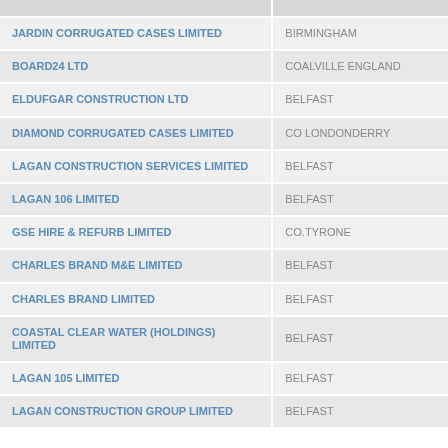| Company | Location |
| --- | --- |
| JARDIN CORRUGATED CASES LIMITED | BIRMINGHAM |
| BOARD24 LTD | COALVILLE ENGLAND |
| ELDUFGAR CONSTRUCTION LTD | BELFAST |
| DIAMOND CORRUGATED CASES LIMITED | CO LONDONDERRY |
| LAGAN CONSTRUCTION SERVICES LIMITED | BELFAST |
| LAGAN 106 LIMITED | BELFAST |
| GSE HIRE & REFURB LIMITED | CO.TYRONE |
| CHARLES BRAND M&E LIMITED | BELFAST |
| CHARLES BRAND LIMITED | BELFAST |
| COASTAL CLEAR WATER (HOLDINGS) LIMITED | BELFAST |
| LAGAN 105 LIMITED | BELFAST |
| LAGAN CONSTRUCTION GROUP LIMITED | BELFAST |